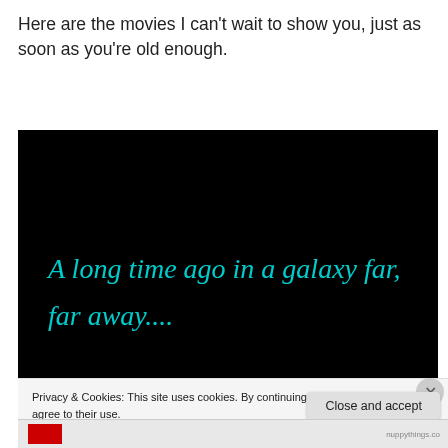Here are the movies I can't wait to show you, just as soon as you're old enough.
[Figure (screenshot): Black background screenshot showing Star Wars opening text in cyan: 'A long time ago in a galaxy far, far away....']
Privacy & Cookies: This site uses cookies. By continuing to use this website, you agree to their use.
To find out more, including how to control cookies, see here: Cookie Policy
Close and accept